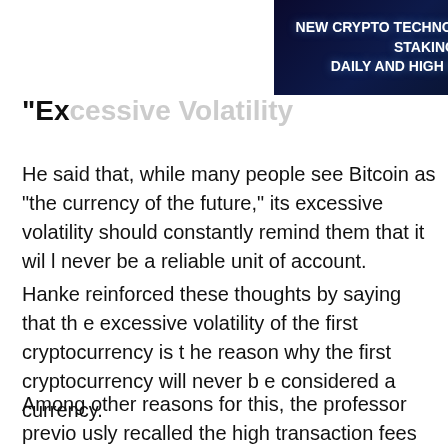[Figure (other): Advertisement banner: NEW CRYPTO TECHNOLOGY - CROSS STAKING DAILY AND HIGH REWARDS with Ads badge]
"Excessive Volatility
He said that, while many people see Bitcoin as "the currency of the future," its excessive volatility should constantly remind them that it will never be a reliable unit of account.
Hanke reinforced these thoughts by saying that the excessive volatility of the first cryptocurrency is the reason why the first cryptocurrency will never be considered a currency.
Among other reasons for this, the professor previously recalled the high transaction fees that users are charged when converting